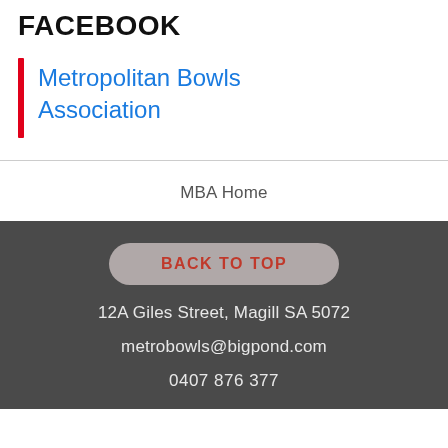FACEBOOK
Metropolitan Bowls Association
MBA Home
BACK TO TOP
12A Giles Street, Magill SA 5072
metrobowls@bigpond.com
0407 876 377